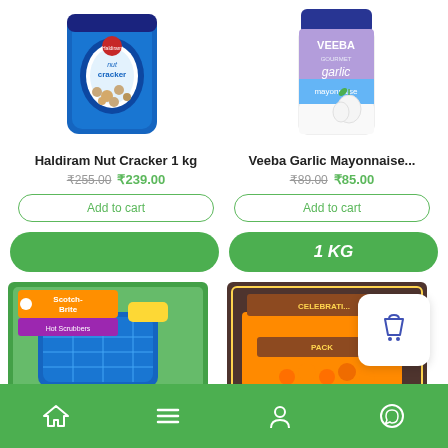[Figure (photo): Haldiram Nut Cracker 1kg blue bag product image]
[Figure (photo): Veeba Garlic Mayonnaise jar with blue lid product image]
Haldiram Nut Cracker 1 kg
₹255.00  ₹239.00
Add to cart
Veeba Garlic Mayonnaise...
₹89.00  ₹85.00
Add to cart
1 KG
[Figure (photo): Scotch-Brite Hot Scrubbers product image]
[Figure (photo): Celebrate Pack product image]
Home | Menu | Profile | WhatsApp navigation bar